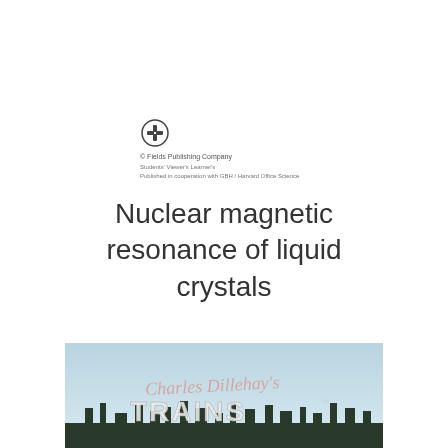[Figure (logo): Publisher logo - circular emblem with figure inside]
© Fields Publishing Company
Students' Viewer's Learner's
Published in cooperation with GBH / Harvard Office Science
Nuclear magnetic resonance of liquid crystals
[Figure (photo): Charles Dillehay's TRAINS advertisement/logo image at the bottom of the page]